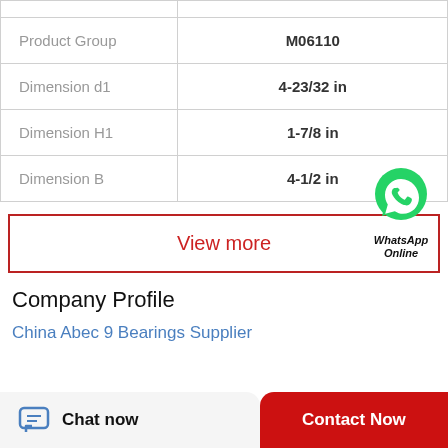| Property | Value |
| --- | --- |
| Product Group | M06110 |
| Dimension d1 | 4-23/32 in |
| Dimension H1 | 1-7/8 in |
| Dimension B | 4-1/2 in |
View more
[Figure (logo): WhatsApp green circular logo with phone handset icon, labeled WhatsApp Online]
Company Profile
China Abec 9 Bearings Supplier
Chat now | Contact Now